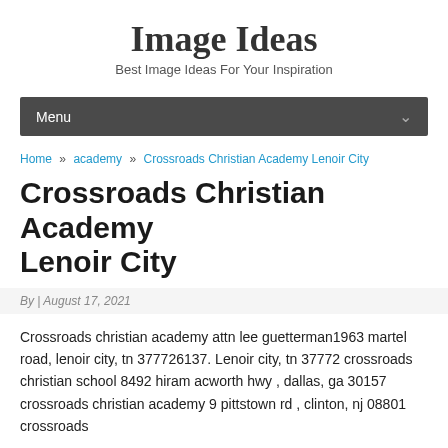Image Ideas
Best Image Ideas For Your Inspiration
Menu
Home » academy » Crossroads Christian Academy Lenoir City
Crossroads Christian Academy Lenoir City
By | August 17, 2021
Crossroads christian academy attn lee guetterman1963 martel road, lenoir city, tn 377726137. Lenoir city, tn 37772 crossroads christian school 8492 hiram acworth hwy , dallas, ga 30157 crossroads christian academy 9 pittstown rd , clinton, nj 08801 crossroads